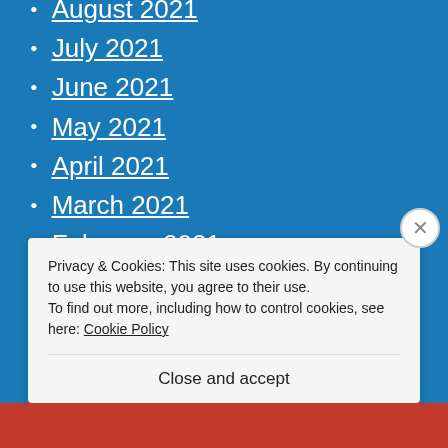August 2021
July 2021
June 2021
May 2021
April 2021
March 2021
February 2021
January 2021
December 2020
November 2020
October 2020
Privacy & Cookies: This site uses cookies. By continuing to use this website, you agree to their use.
To find out more, including how to control cookies, see here: Cookie Policy
Close and accept